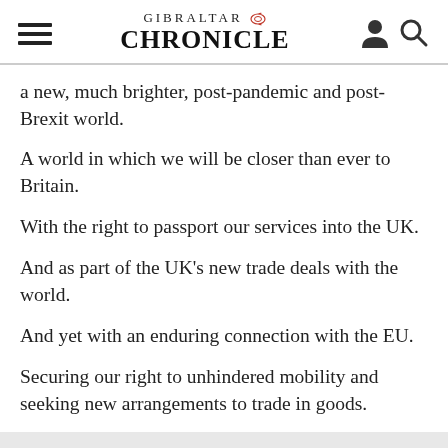GIBRALTAR CHRONICLE
a new, much brighter, post-pandemic and post-Brexit world.
A world in which we will be closer than ever to Britain.
With the right to passport our services into the UK.
And as part of the UK's new trade deals with the world.
And yet with an enduring connection with the EU.
Securing our right to unhindered mobility and seeking new arrangements to trade in goods.
My dear fellow Gibraltarians,